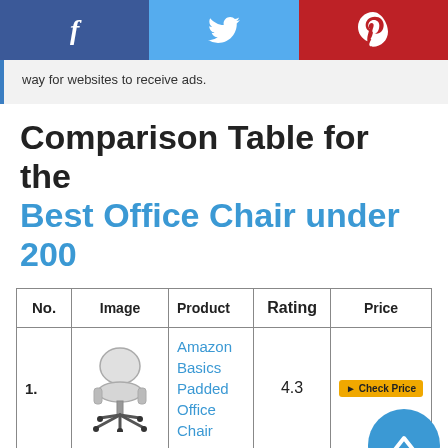[Figure (screenshot): Social media share bar with Facebook, Twitter, and Pinterest icons]
way for websites to receive ads.
Comparison Table for the Best Office Chair under 200
| No. | Image | Product | Rating | Price |
| --- | --- | --- | --- | --- |
| 1. | [chair image] | Amazon Basics Padded Office Chair | 4.3 | [price button] |
|  |  |  |  |  |